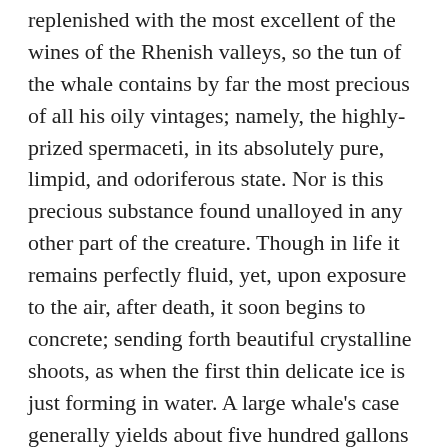replenished with the most excellent of the wines of the Rhenish valleys, so the tun of the whale contains by far the most precious of all his oily vintages; namely, the highly-prized spermaceti, in its absolutely pure, limpid, and odoriferous state. Nor is this precious substance found unalloyed in any other part of the creature. Though in life it remains perfectly fluid, yet, upon exposure to the air, after death, it soon begins to concrete; sending forth beautiful crystalline shoots, as when the first thin delicate ice is just forming in water. A large whale's case generally yields about five hundred gallons of sperm, though from unavoidable circumstances, considerable of it is spilled, leaks, and dribbles away, or is otherwise irrevocably lost in the ticklish business of securing what you can.